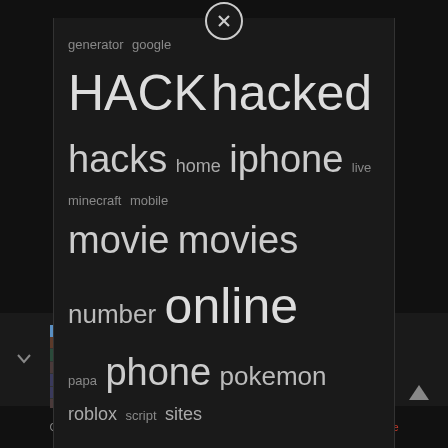[Figure (screenshot): Tag cloud overlay on dark background showing various keywords in different sizes: generator, google, HACK, hacked, hacks, home, iphone, live, minecraft, mobile, movie, movies, number, online, papa, phone, pokemon, roblox, script, sites, start, stream, unblocked, watch, what, with, without, your]
Watch Movies 123 Go
rics
Copyright © 2022 DSR ZB. Powered by PressBook News Dark theme